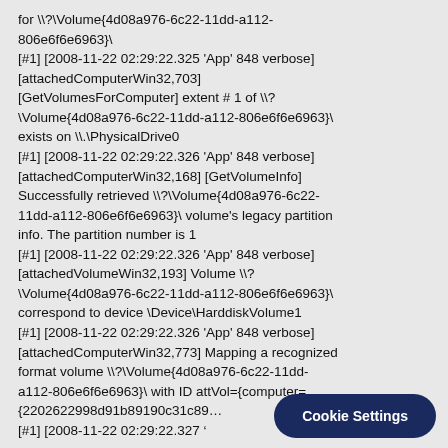for \?\Volume{4d08a976-6c22-11dd-a112-806e6f6e6963}\
[#1] [2008-11-22 02:29:22.325 'App' 848 verbose] [attachedComputerWin32,703] [GetVolumesForComputer] extent # 1 of \?\Volume{4d08a976-6c22-11dd-a112-806e6f6e6963}\ exists on \\.\PhysicalDrive0
[#1] [2008-11-22 02:29:22.326 'App' 848 verbose] [attachedComputerWin32,168] [GetVolumeInfo] Successfully retrieved \?\Volume{4d08a976-6c22-11dd-a112-806e6f6e6963}\ volume's legacy partition info. The partition number is 1
[#1] [2008-11-22 02:29:22.326 'App' 848 verbose] [attachedVolumeWin32,193] Volume \?\Volume{4d08a976-6c22-11dd-a112-806e6f6e6963}\ correspond to device \Device\HarddiskVolume1
[#1] [2008-11-22 02:29:22.326 'App' 848 verbose] [attachedComputerWin32,773] Mapping a recognized format volume \?\Volume{4d08a976-6c22-11dd-a112-806e6f6e6963}\ with ID attVol={computer={2202622998d91b89190c31c89...
[#1] [2008-11-22 02:29:22.327 ...